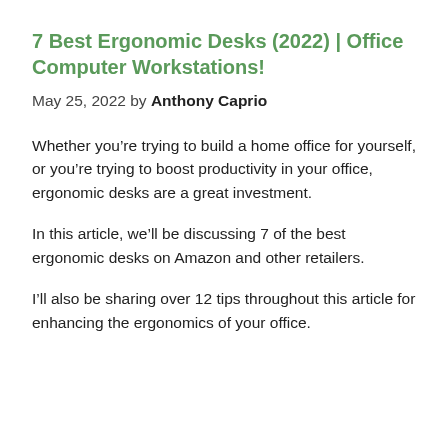7 Best Ergonomic Desks (2022) | Office Computer Workstations!
May 25, 2022 by Anthony Caprio
Whether you’re trying to build a home office for yourself, or you’re trying to boost productivity in your office, ergonomic desks are a great investment.
In this article, we’ll be discussing 7 of the best ergonomic desks on Amazon and other retailers.
I’ll also be sharing over 12 tips throughout this article for enhancing the ergonomics of your office.